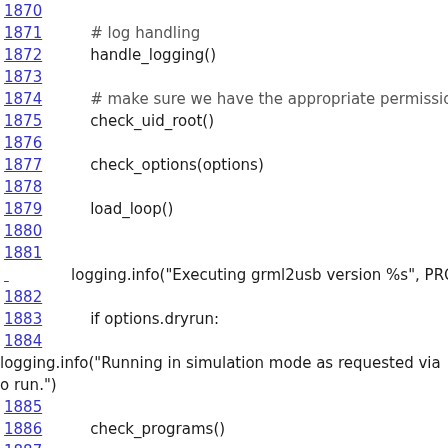1870 (truncated line number visible at top)
1871    # log handling
1872    handle_logging()
1873
1874    # make sure we have the appropriate permissions
1875    check_uid_root()
1876
1877    check_options(options)
1878
1879    load_loop()
1880
1881
logging.info("Executing grml2usb version %s", PROG_VERSI...
1882
1883    if options.dryrun:
1884
logging.info("Running in simulation mode as requested via o run.")
1885
1886    check_programs()
1887
1888    # specified arguments
1889    device = os.path.realpath(args[len(args) - 1])
1890    isos = args[0:len(args) - 1]
1891
1892    if not os.path.isdir(device):